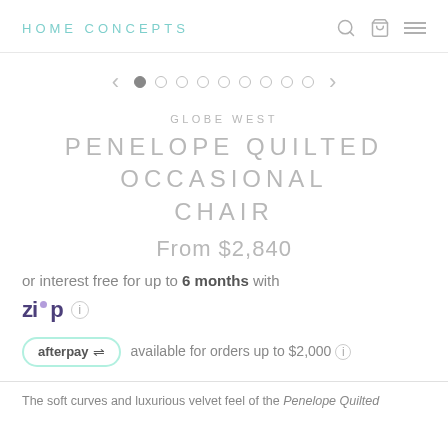HOME CONCEPTS
[Figure (other): Image carousel navigation with left arrow, dot indicators (first dot active), and right arrow]
GLOBE WEST
PENELOPE QUILTED OCCASIONAL CHAIR
From $2,840
or interest free for up to 6 months with
[Figure (logo): Zip payment logo]
afterpay available for orders up to $2,000
The soft curves and luxurious velvet feel of the Penelope Quilted